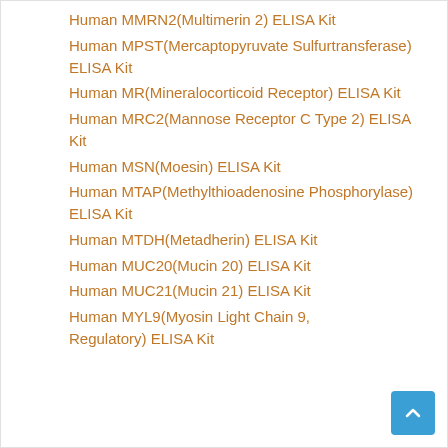Human MMRN2(Multimerin 2) ELISA Kit
Human MPST(Mercaptopyruvate Sulfurtransferase) ELISA Kit
Human MR(Mineralocorticoid Receptor) ELISA Kit
Human MRC2(Mannose Receptor C Type 2) ELISA Kit
Human MSN(Moesin) ELISA Kit
Human MTAP(Methylthioadenosine Phosphorylase) ELISA Kit
Human MTDH(Metadherin) ELISA Kit
Human MUC20(Mucin 20) ELISA Kit
Human MUC21(Mucin 21) ELISA Kit
Human MYL9(Myosin Light Chain 9, Regulatory) ELISA Kit